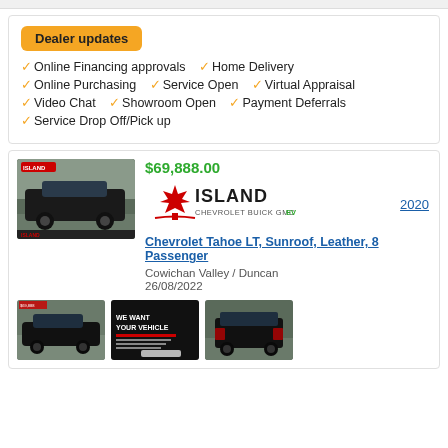Dealer updates
Online Financing approvals
Home Delivery
Online Purchasing
Service Open
Virtual Appraisal
Video Chat
Showroom Open
Payment Deferrals
Service Drop Off/Pick up
$69,888.00
[Figure (logo): Island Chevrolet Buick GMC EV dealer logo with maple leaf]
2020
Chevrolet Tahoe LT, Sunroof, Leather, 8 Passenger
Cowichan Valley / Duncan
26/08/2022
[Figure (photo): Black Chevrolet Tahoe SUV main listing photo]
[Figure (photo): Black Chevrolet Tahoe side view thumbnail]
[Figure (photo): We Want Your Vehicle promotional image thumbnail]
[Figure (photo): Black Chevrolet Tahoe rear view thumbnail]